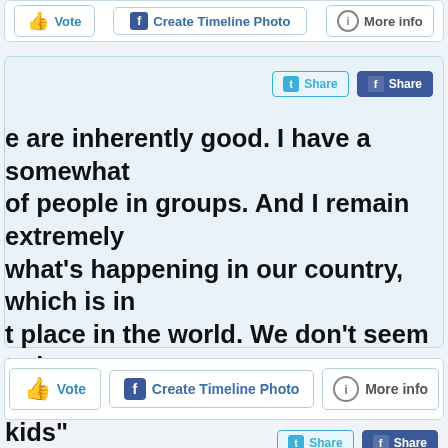[Figure (screenshot): Top UI bar with Vote, Create Timeline Photo, and More info buttons, partially cut off at top]
[Figure (screenshot): Social share buttons: Twitter Share and Facebook Share]
e are inherently good. I have a somewhat of people in groups. And I remain extremely what's happening in our country, which is in t place in the world. We don't seem to be our country a better place for our kids"
[Figure (screenshot): Bottom UI bar with Vote, Create Timeline Photo, and More info buttons]
[Figure (screenshot): Partially visible bottom share buttons: Twitter Share and Facebook Share]